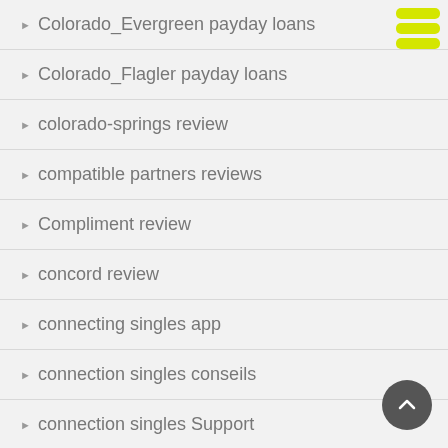Colorado_Evergreen payday loans
Colorado_Flagler payday loans
colorado-springs review
compatible partners reviews
Compliment review
concord review
connecting singles app
connection singles conseils
connection singles Support